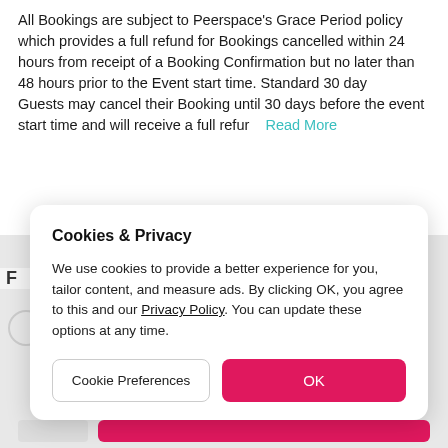All Bookings are subject to Peerspace's Grace Period policy which provides a full refund for Bookings cancelled within 24 hours from receipt of a Booking Confirmation but no later than 48 hours prior to the Event start time. Standard 30 day
Guests may cancel their Booking until 30 days before the event start time and will receive a full refur   Read More
Cookies & Privacy
We use cookies to provide a better experience for you, tailor content, and measure ads. By clicking OK, you agree to this and our Privacy Policy. You can update these options at any time.